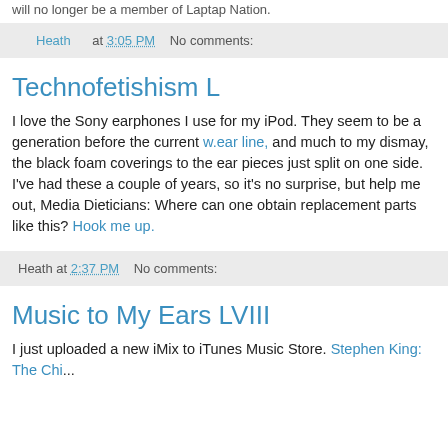will no longer be a member of Laptap Nation.
Heath at 3:05 PM   No comments:
Technofetishism L
I love the Sony earphones I use for my iPod. They seem to be a generation before the current w.ear line, and much to my dismay, the black foam coverings to the ear pieces just split on one side. I've had these a couple of years, so it's no surprise, but help me out, Media Dieticians: Where can one obtain replacement parts like this? Hook me up.
Heath at 2:37 PM   No comments:
Music to My Ears LVIII
I just uploaded a new iMix to iTunes Music Store. Stephen King: The Chi...